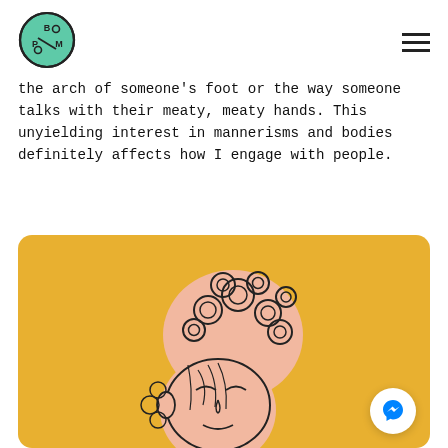BPM logo and hamburger menu
the arch of someone’s foot or the way someone talks with their meaty, meaty hands. This unyielding interest in mannerisms and bodies definitely affects how I engage with people.
[Figure (illustration): Illustration of a stylized face with elaborate swirling pink hair on a yellow/golden background. A Facebook Messenger icon button is in the bottom right corner of the image.]